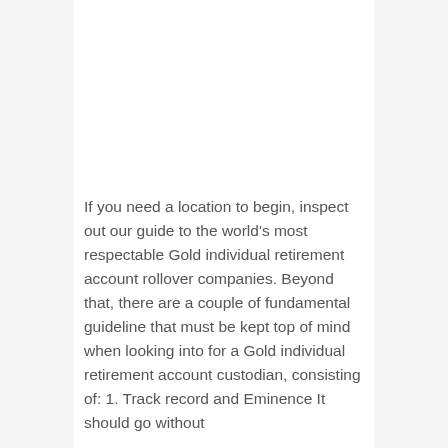If you need a location to begin, inspect out our guide to the world's most respectable Gold individual retirement account rollover companies. Beyond that, there are a couple of fundamental guideline that must be kept top of mind when looking into for a Gold individual retirement account custodian, consisting of: 1. Track record and Eminence It should go without